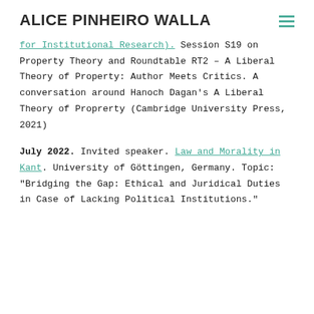ALICE PINHEIRO WALLA
for Institutional Research). Session S19 on Property Theory and Roundtable RT2 – A Liberal Theory of Property: Author Meets Critics. A conversation around Hanoch Dagan's A Liberal Theory of Proprerty (Cambridge University Press, 2021)
July 2022. Invited speaker. Law and Morality in Kant. University of Göttingen, Germany. Topic: "Bridging the Gap: Ethical and Juridical Duties in Case of Lacking Political Institutions."